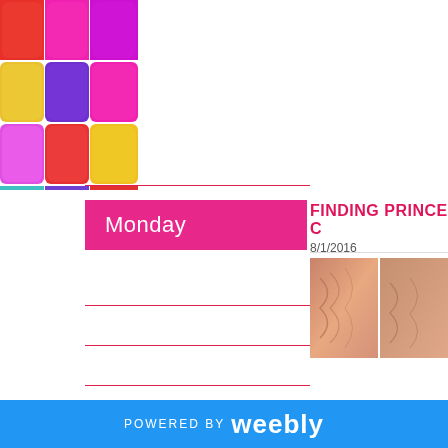Monday
[Figure (photo): Colorful grid of rounded squares in various bright colors including red, pink, magenta, yellow, purple, teal]
FINDING PRINCE C
8/1/2016
[Figure (photo): Close-up of bronze/blush makeup product with swirled texture]
POWERED BY weebly